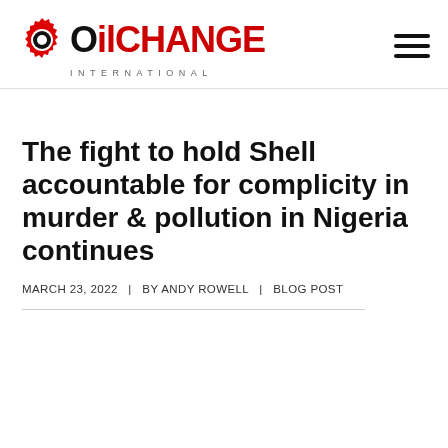OIL CHANGE INTERNATIONAL
The fight to hold Shell accountable for complicity in murder & pollution in Nigeria continues
MARCH 23, 2022 | BY ANDY ROWELL | BLOG POST